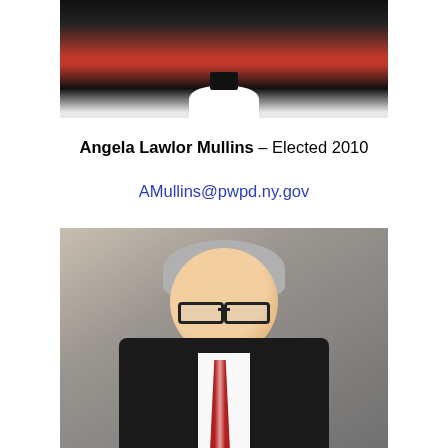[Figure (photo): Partial photograph of Angela Lawlor Mullins in judicial robes with white collar, cropped at top of page]
Angela Lawlor Mullins – Elected 2010
AMullins@pwpd.ny.gov
[Figure (photo): Professional portrait photograph of a middle-aged man with salt-and-pepper hair wearing dark-framed glasses, black suit, white dress shirt, and red striped tie, smiling slightly, against a gray background]